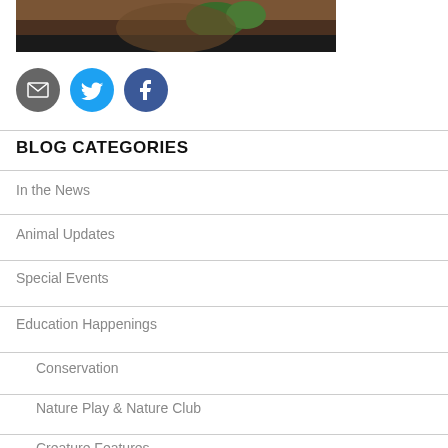[Figure (photo): Partial photo of an animal in dirt/mulch environment with some green foliage visible, shown as a cropped strip at top of page]
[Figure (infographic): Three social media icon circles: email (grey), Twitter (cyan/blue), Facebook (dark blue)]
BLOG CATEGORIES
In the News
Animal Updates
Special Events
Education Happenings
Conservation
Nature Play & Nature Club
Creature Features